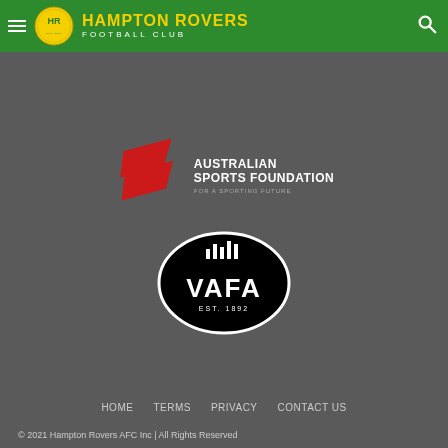Hampton Rovers Football Club
Subscribe
[Figure (logo): Australian Sports Foundation logo - red chevron/arrow shape with text 'AUSTRALIAN SPORTS FOUNDATION FOR A SPORTING FUTURE']
[Figure (logo): VAFA logo - black oval badge with white text 'VAFA' and bar chart icon above, 'EST. 1892' below]
HOME   TERMS   PRIVACY   CONTACT US
© 2021 Hampton Rovers AFC Inc | All Rights Reserved